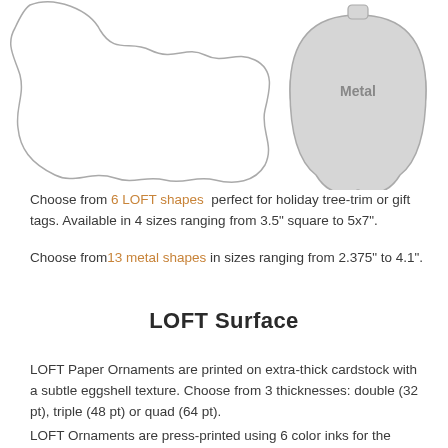[Figure (illustration): Two ornament shape outlines on the left (irregular wavy blob shapes, outlined in gray) and a teardrop/onion-shaped ornament filled with light gray on the right, labeled 'Metal' in gray text.]
Choose from 6 LOFT shapes  perfect for holiday tree-trim or gift tags. Available in 4 sizes ranging from 3.5" square to 5x7".
Choose from13 metal shapes in sizes ranging from 2.375" to 4.1".
LOFT Surface
LOFT Paper Ornaments are printed on extra-thick cardstock with a subtle eggshell texture. Choose from 3 thicknesses: double (32 pt), triple (48 pt) or quad (64 pt).
LOFT Ornaments are press-printed using 6 color inks for the